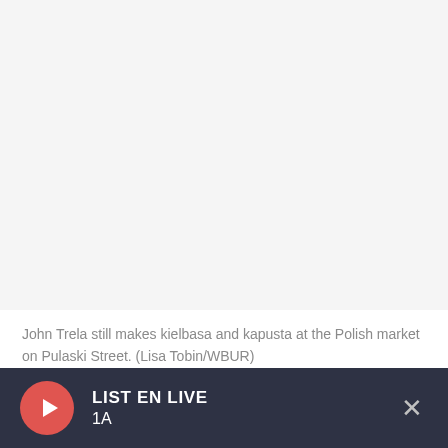[Figure (photo): White/blank area representing a photo of John Trela at the Polish market on Pulaski Street (image not loaded)]
John Trela still makes kielbasa and kapusta at the Polish market on Pulaski Street. (Lisa Tobin/WBUR)
We then...
LISTEN EN LIVE
1A